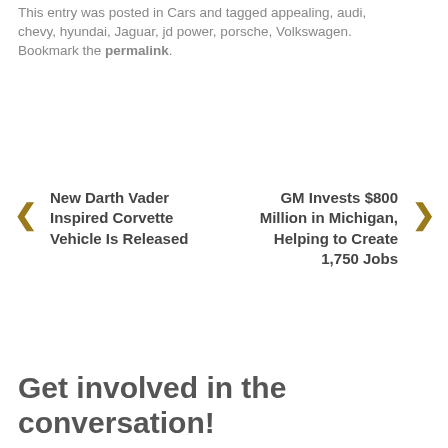This entry was posted in Cars and tagged appealing, audi, chevy, hyundai, Jaguar, jd power, porsche, Volkswagen. Bookmark the permalink.
New Darth Vader Inspired Corvette Vehicle Is Released
GM Invests $800 Million in Michigan, Helping to Create 1,750 Jobs
Get involved in the conversation!